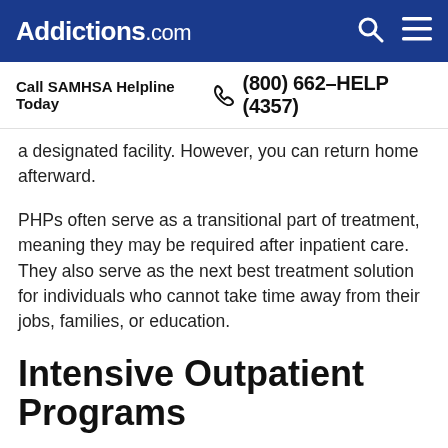Addictions.com
Call SAMHSA Helpline Today  (800) 662-HELP (4357)
a designated facility. However, you can return home afterward.
PHPs often serve as a transitional part of treatment, meaning they may be required after inpatient care. They also serve as the next best treatment solution for individuals who cannot take time away from their jobs, families, or education.
Intensive Outpatient Programs
Intensive outpatient programs (IOPs) work similarly to PHPs in that they require several hours of